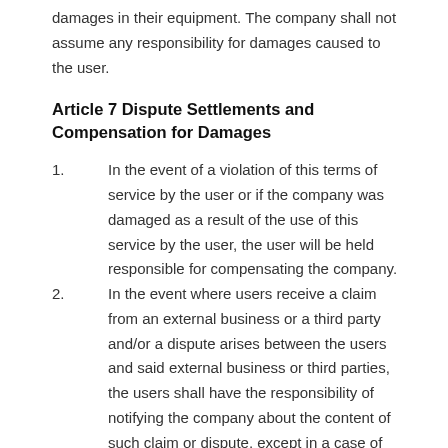damages in their equipment. The company shall not assume any responsibility for damages caused to the user.
Article 7 Dispute Settlements and Compensation for Damages
In the event of a violation of this terms of service by the user or if the company was damaged as a result of the use of this service by the user, the user will be held responsible for compensating the company.
In the event where users receive a claim from an external business or a third party and/or a dispute arises between the users and said external business or third parties, the users shall have the responsibility of notifying the company about the content of such claim or dispute, except in a case of willful or serious negligence of the company, the users will be responsible for the settlement of such claim or disputes at their expense, and they shall report their progress upon a request from the company.
In the event that the company receives a claim from the external